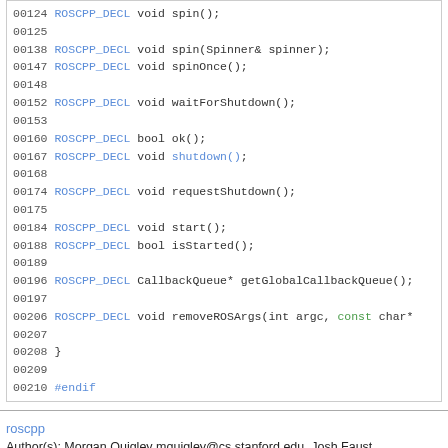[Figure (screenshot): Code listing showing C++ header file lines 00124-00210 with ROS API function declarations including spin, spinOnce, waitForShutdown, ok, shutdown, requestShutdown, start, isStarted, getGlobalCallbackQueue, removeROSArgs, and #endif]
roscpp
Author(s): Morgan Quigley mquigley@cs.stanford.edu, Josh Faust jfaust@willowgarage.com, Brian Gerkey gerkey@willowgarage.com, Troy Straszheim straszheim@willowgarage.com
autogenerated on Sat Dec 28 2013 17:35:52